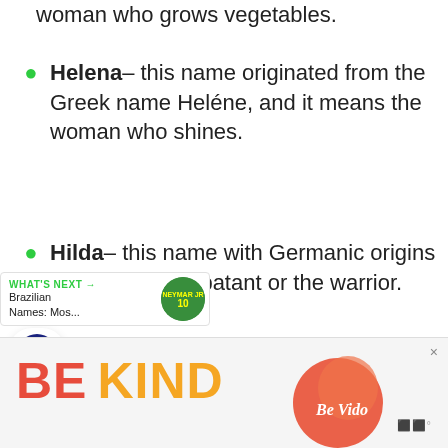woman who grows vegetables.
Helena– this name originated from the Greek name Heléne, and it means the woman who shines.
Hilda– this name with Germanic origins means the combatant or the warrior.
[Figure (infographic): Social interaction sidebar with heart/like button showing 213 likes and a share button]
[Figure (infographic): What's Next promo box: Brazilian Names: Mos... with Neymar Jr thumbnail]
[Figure (infographic): Advertisement banner: BE KIND with decorative graphic and Be Vido logo]